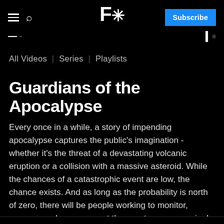F* Subscribe
All Videos | Series | Playlists
Guardians of the Apocalypse
Every once in a while, a story of impending apocalypse captures the public's imagination - whether it's the threat of a devastating volcanic eruption or a collision with a massive asteroid. While the chances of a catastrophic event are low, the chance exists. And as long as the probability is north of zero, there will be people working to monitor, prepare, and even prevent the worst case scenario. In Guardians of the Apocalypse, we meet the people standing between us and our greatest fears.